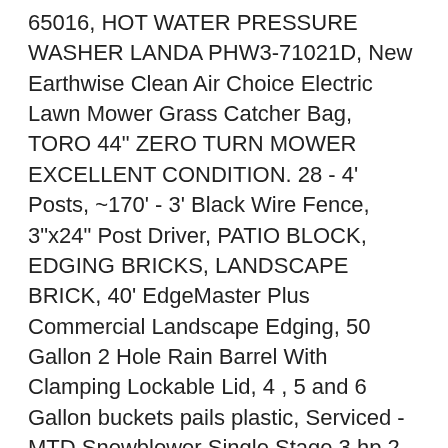65016, HOT WATER PRESSURE WASHER LANDA PHW3-71021D, New Earthwise Clean Air Choice Electric Lawn Mower Grass Catcher Bag, TORO 44" ZERO TURN MOWER EXCELLENT CONDITION. 28 - 4' Posts, ~170' - 3' Black Wire Fence, 3"x24" Post Driver, PATIO BLOCK, EDGING BRICKS, LANDSCAPE BRICK, 40' EdgeMaster Plus Commercial Landscape Edging, 50 Gallon 2 Hole Rain Barrel With Clamping Lockable Lid, 4 , 5 and 6 Gallon buckets pails plastic, Serviced - MTD Snowblower Single Stage 3 hp 2 Cycle 21"cut -TORO clone. Free delivery & stacking. northern WI farm & garden - by owner - craigslist. Life Style Products 10 Piece Garden Tool Set, Craftsman garden tractor with snow thrower, FISCARS ... BY PASS ... LOPPER ... GOOD CONDITION. BOSS ... ROOT ... FEEDER ...